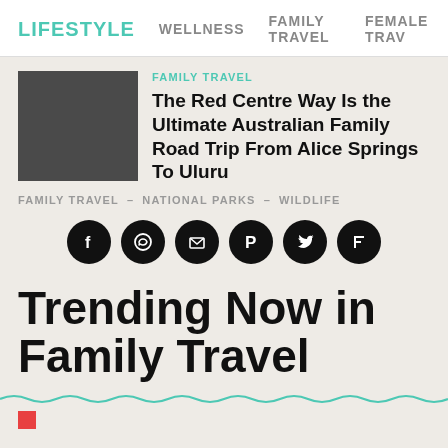LIFESTYLE  WELLNESS  FAMILY TRAVEL  FEMALE TRAV
FAMILY TRAVEL
The Red Centre Way Is the Ultimate Australian Family Road Trip From Alice Springs To Uluru
FAMILY TRAVEL – NATIONAL PARKS – WILDLIFE
[Figure (infographic): Six black circular social media share icons: Facebook, WhatsApp, Email, Pinterest, Twitter, Flipboard]
Trending Now in Family Travel